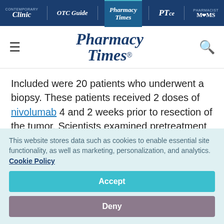Clinic | OTC Guide | Pharmacy Times | PTce | Pharmacist MOMS
[Figure (logo): Pharmacy Times main logo with hamburger menu and search icon]
Included were 20 patients who underwent a biopsy. These patients received 2 doses of nivolumab 4 and 2 weeks prior to resection of the tumor. Scientists examined pretreatment
This website stores data such as cookies to enable essential site functionality, as well as marketing, personalization, and analytics. Cookie Policy
Accept
Deny